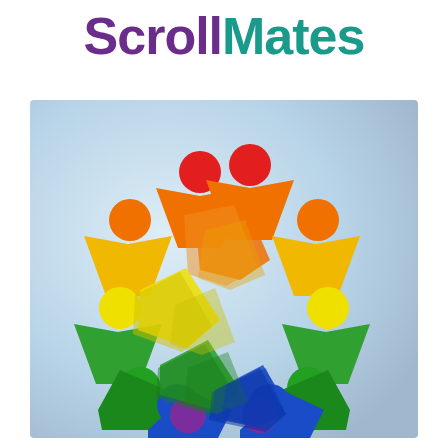ScrollMates
[Figure (logo): ScrollMates logo: circular arrangement of colorful stylized human figures (triangular bodies with circular heads) in red, orange, yellow, green, blue, and purple, forming a pinwheel/swirl pattern on a light blue-grey gradient background.]